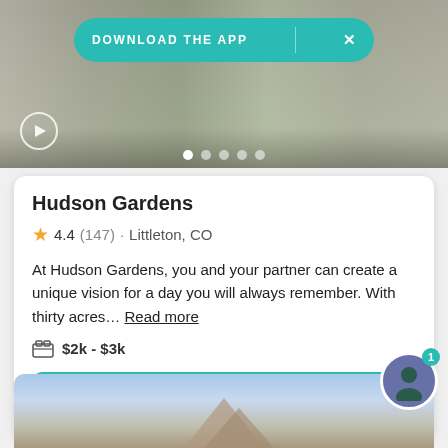[Figure (photo): Wedding venue photo showing outdoor seating with white chairs, guests, and a walkway]
DOWNLOAD THE APP
Hudson Gardens
4.4 (147) · Littleton, CO
At Hudson Gardens, you and your partner can create a unique vision for a day you will always remember. With thirty acres… Read more
$2k - $3k
Request pricing
[Figure (photo): Mountain landscape with rocky peaks and cloudy blue sky]